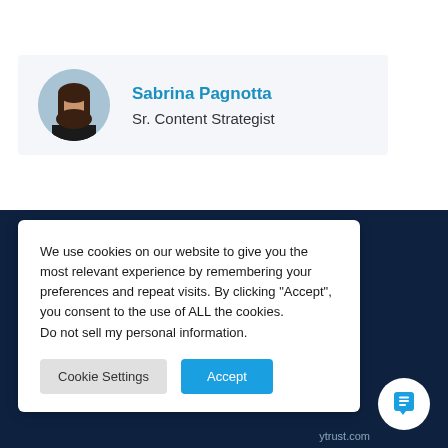[Figure (photo): Circular profile photo of a woman with long dark hair wearing a black top, displayed on a light gray card background]
Sabrina Pagnotta
Sr. Content Strategist
We use cookies on our website to give you the most relevant experience by remembering your preferences and repeat visits. By clicking “Accept”, you consent to the use of ALL the cookies.
Do not sell my personal information.
Cookie Settings
Accept
[Figure (illustration): Chat bubble icon in blue on a white circular button in the bottom right corner]
ytrust.com